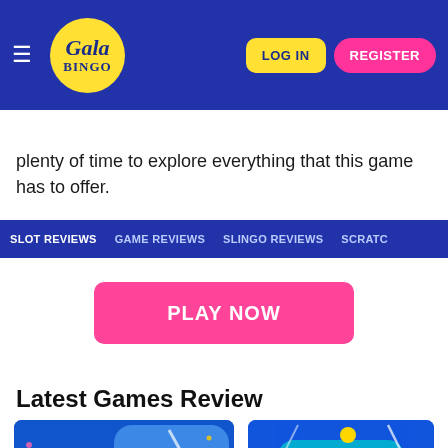Gala Bingo — LOG IN | REGISTER
SLOT REVIEWS  GAME REVIEWS  SLINGO REVIEWS  SCRATCH
plenty of time to explore everything that this game has to offer.
[Figure (screenshot): Pink PLAY NOW button]
Latest Games Review
[Figure (screenshot): Two game card thumbnails: Slingo Mcdoodles 2 (left) and Pile Em Up (right)]